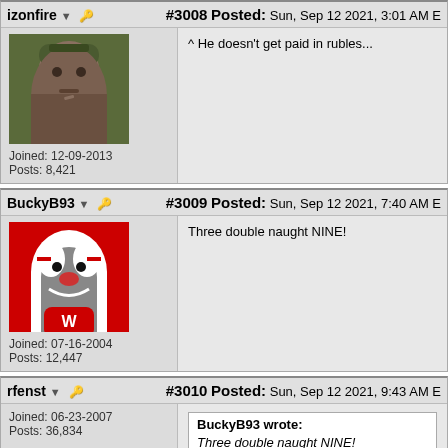izonfire #3008 Posted: Sun, Sep 12 2021, 3:01 AM E
Joined: 12-09-2013 Posts: 8,421
^ He doesn't get paid in rubles...
BuckyB93 #3009 Posted: Sun, Sep 12 2021, 7:40 AM E
Joined: 07-16-2004 Posts: 12,447
Three double naught NINE!
rfenst #3010 Posted: Sun, Sep 12 2021, 9:43 AM E
Joined: 06-23-2007 Posts: 36,834
BuckyB93 wrote: Three double naught NINE! WRONG.
Smooth light #3011 Posted: Sun, Sep 12 2021, 3:58 PM E
Joined: 06-26-2020
Still trying to get on, some day I'll make it